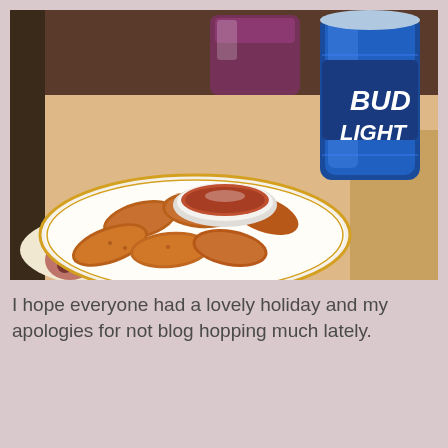[Figure (photo): A plate of fried breaded snacks (jalapeno poppers or similar) with a small white dipping bowl, alongside a Bud Light beer can and a purple/red drink glass, on a table with a floral cloth.]
I hope everyone had a lovely holiday and my apologies for not blog hopping much lately.